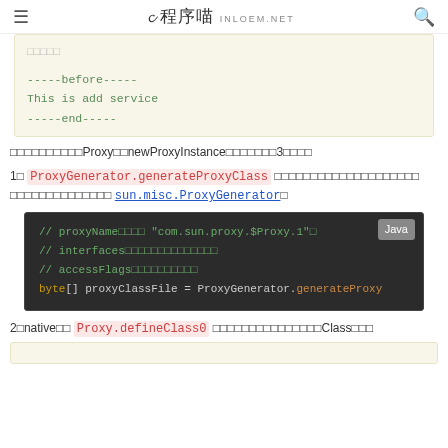程序喵 inloem.net
（code block with output: -----before----- / This is add service / -----end-----）
在这里就算是通过Proxy的newProxyInstance的步骤了，有3个步骤
1）ProxyGenerator.generateProxyClass 这个方法是用来生成代理类的字节码，具体实现在 sun.misc.ProxyGenerator。
Java code block: // proxyName默认值 "com.sun.proxy.$Proxy.1"。 // interfaces就是接口数组中的接口信息。 // accessFlags就是访问标识符。 byte[] proxyClassFile = ProxyGenerator.generateProxy
2）native方法 Proxy.defineClass0 将代理类的字节码转换为Class对象。